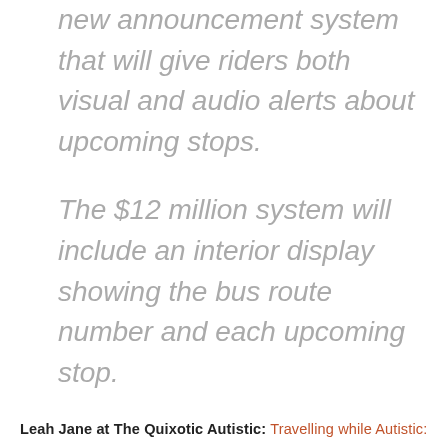new announcement system that will give riders both visual and audio alerts about upcoming stops.
The $12 million system will include an interior display showing the bus route number and each upcoming stop.
Leah Jane at The Quixotic Autistic: Travelling while Autistic:
I want to note something about travelling while autistic, especially